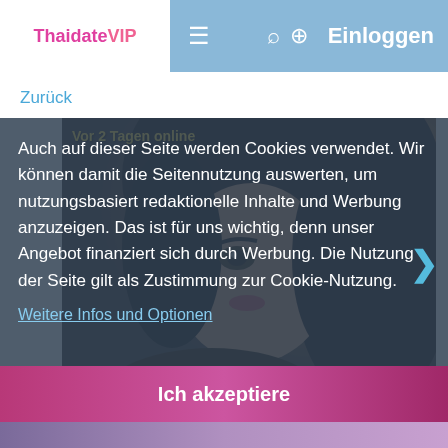ThaidateVIP — Einloggen
Zurück
[Figure (photo): Profile photo of a woman with dark hair, partially visible behind a cookie consent overlay. A label 'Vor 2 Tagen online' appears at the top left of the image.]
Auch auf dieser Seite werden Cookies verwendet. Wir können damit die Seitennutzung auswerten, um nutzungsbasiert redaktionelle Inhalte und Werbung anzuzeigen. Das ist für uns wichtig, denn unser Angebot finanziert sich durch Werbung. Die Nutzung der Seite gilt als Zustimmung zur Cookie-Nutzung.
Weitere Infos und Optionen
Ich akzeptiere